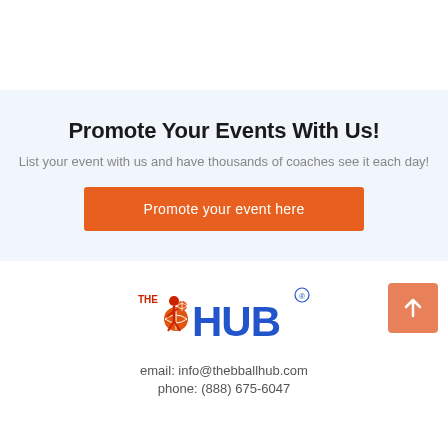Promote Your Events With Us!
List your event with us and have thousands of coaches see it each day!
Promote your event here
[Figure (logo): THE HUB basketball logo in red/blue text with player dribbling]
email: info@thebballhub.com
phone: (888) 675-6047